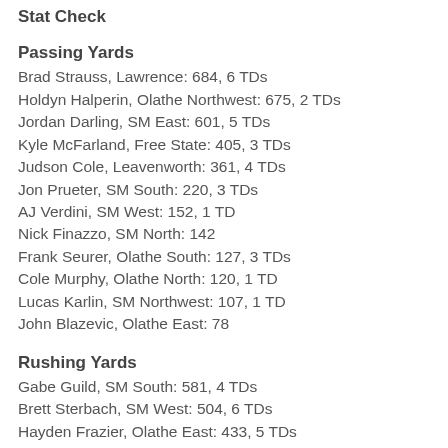Stat Check
Passing Yards
Brad Strauss, Lawrence: 684, 6 TDs
Holdyn Halperin, Olathe Northwest: 675, 2 TDs
Jordan Darling, SM East: 601, 5 TDs
Kyle McFarland, Free State: 405, 3 TDs
Judson Cole, Leavenworth: 361, 4 TDs
Jon Prueter, SM South: 220, 3 TDs
AJ Verdini, SM West: 152, 1 TD
Nick Finazzo, SM North: 142
Frank Seurer, Olathe South: 127, 3 TDs
Cole Murphy, Olathe North: 120, 1 TD
Lucas Karlin, SM Northwest: 107, 1 TD
John Blazevic, Olathe East: 78
Rushing Yards
Gabe Guild, SM South: 581, 4 TDs
Brett Sterbach, SM West: 504, 6 TDs
Hayden Frazier, Olathe East: 433, 5 TDs
Jason Randall, Leavenworth: 398, 4 TDs
Russell White, Olathe South: 381, 5 TDs
Henry Bell, SM North: 307, 5 TDs